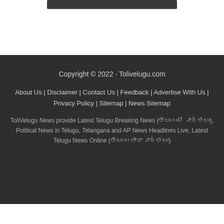[Figure (other): Dark rounded button/bar at the top of the page]
Copyright © 2022 · Tolivelugu.com
About Us | Disclaimer | Contact Us | Feedback | Advertise With Us | Privacy Policy | Sitemap | News Sitemap
ToliVelugu News provide Latest Telugu Breaking News (తెలుగులో వార్తలు), Political News in Telugu, Telangana and AP News Headlines Live, Latest Telugu News Online (తెలుగు తాజా వార్తలు)